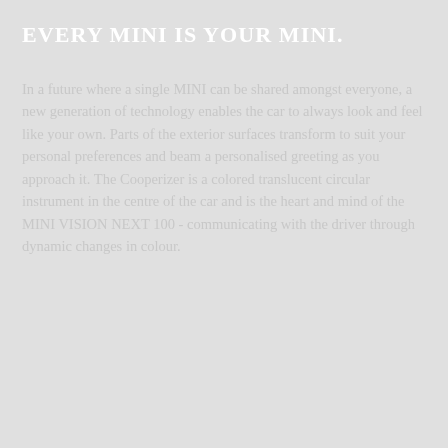EVERY MINI IS YOUR MINI.
In a future where a single MINI can be shared amongst everyone, a new generation of technology enables the car to always look and feel like your own. Parts of the exterior surfaces transform to suit your personal preferences and beam a personalised greeting as you approach it. The Cooperizer is a colored translucent circular instrument in the centre of the car and is the heart and mind of the MINI VISION NEXT 100 - communicating with the driver through dynamic changes in colour.